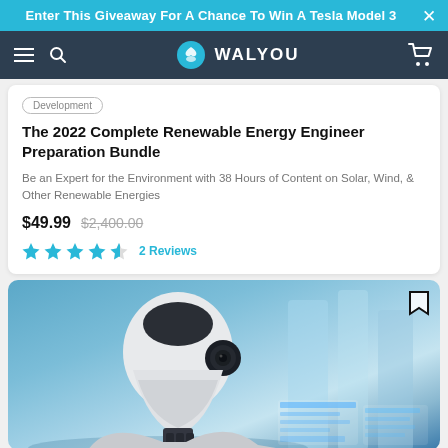Enter This Giveaway For A Chance To Win A Tesla Model 3
WALYOU
Development
The 2022 Complete Renewable Energy Engineer Preparation Bundle
Be an Expert for the Environment with 38 Hours of Content on Solar, Wind, & Other Renewable Energies
$49.99  $2,400.00
2 Reviews
[Figure (photo): A humanoid robot with white and black design looking at a holographic interface display, set against a blurred blue background]